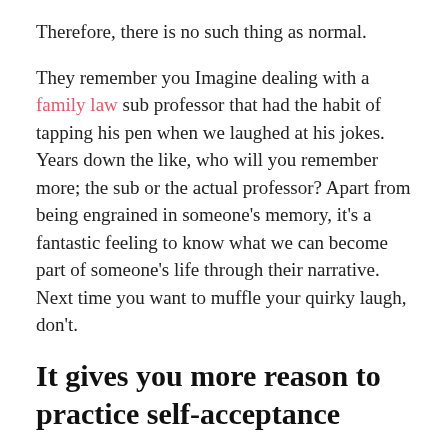Therefore, there is no such thing as normal.
They remember you Imagine dealing with a family law sub professor that had the habit of tapping his pen when we laughed at his jokes. Years down the like, who will you remember more; the sub or the actual professor? Apart from being engrained in someone's memory, it's a fantastic feeling to know what we can become part of someone's life through their narrative. Next time you want to muffle your quirky laugh, don't.
It gives you more reason to practice self-acceptance
There are odd things about you that you might never be able to change; same with your flaws and weaknesses. While's what you can do to mitigate some of them, being okay with being called weird should